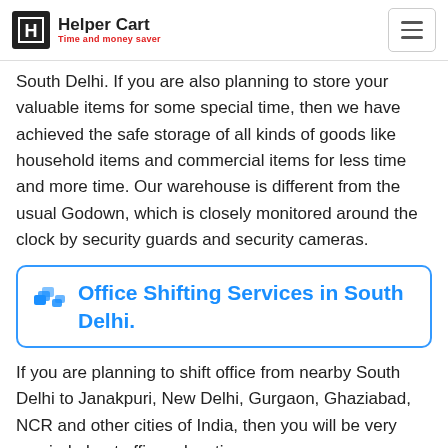Helper Cart — Time and money saver
South Delhi. If you are also planning to store your valuable items for some special time, then we have achieved the safe storage of all kinds of goods like household items and commercial items for less time and more time. Our warehouse is different from the usual Godown, which is closely monitored around the clock by security guards and security cameras.
Office Shifting Services in South Delhi.
If you are planning to shift office from nearby South Delhi to Janakpuri, New Delhi, Gurgaon, Ghaziabad, NCR and other cities of India, then you will be very worried about office relocation